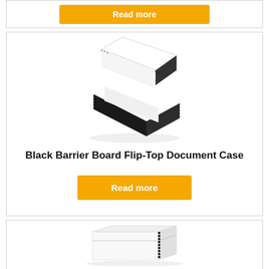[Figure (photo): Top of page: partial view of a card with a yellow 'Read more' button at the top]
[Figure (photo): Black barrier board flip-top document case shown open, displaying white interior, black exterior with stitched edges]
Black Barrier Board Flip-Top Document Case
[Figure (other): Yellow 'Read more' button]
[Figure (photo): White barrier board flip-top document case, closed, with black stitched spine visible on right side]